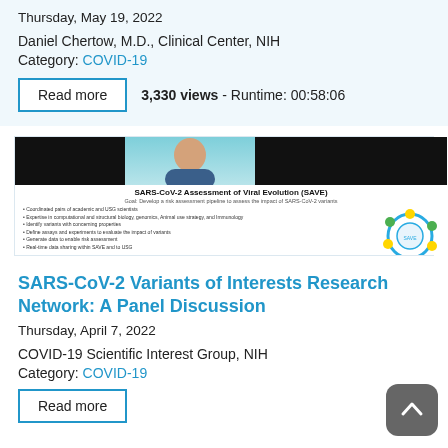Thursday, May 19, 2022
Daniel Chertow, M.D., Clinical Center, NIH
Category: COVID-19
3,330 views - Runtime: 00:58:06
[Figure (screenshot): Screenshot of a video lecture slide titled 'SARS-CoV-2 Assessment of Viral Evolution (SAVE)' with a presenter visible and a circular diagram]
SARS-CoV-2 Variants of Interests Research Network: A Panel Discussion
Thursday, April 7, 2022
COVID-19 Scientific Interest Group, NIH
Category: COVID-19